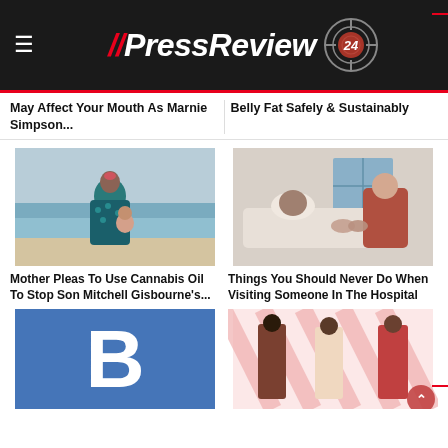// PressReview 24
May Affect Your Mouth As Marnie Simpson...
Belly Fat Safely & Sustainably
[Figure (photo): Mother with child at beach]
Mother Pleas To Use Cannabis Oil To Stop Son Mitchell Gisbourne's...
[Figure (photo): Person visiting someone in hospital, holding hands]
Things You Should Never Do When Visiting Someone In The Hospital
[Figure (logo): Blue square with white letter B logo]
[Figure (photo): Fashion models wearing dresses on striped background]